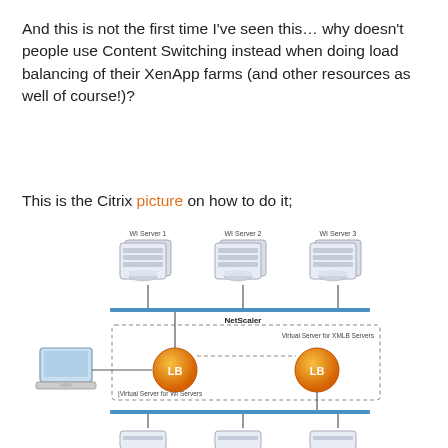And this is not the first time I've seen this… why doesn't people use Content Switching instead when doing load balancing of their XenApp farms (and other resources as well of course!)?
This is the Citrix picture on how to do it;
[Figure (network-graph): Network diagram showing NetScaler load balancing setup with WI Server 1, WI Server 2, WI Server 3 at top connected via horizontal line to a dashed box containing two orange LB virtual server circles (Virtual Server for WI Servers and Virtual Server for XMLB Servers), with a laptop client on the left, and additional servers at the bottom.]